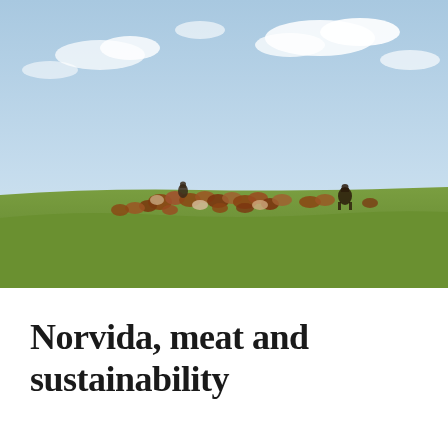[Figure (photo): Cattle herd being herded across a wide open green grassland plain under a pale blue sky with scattered white clouds. Two cowboys on horseback are visible among and to the right of the herd of brown and white cattle.]
Norvida, meat and sustainability